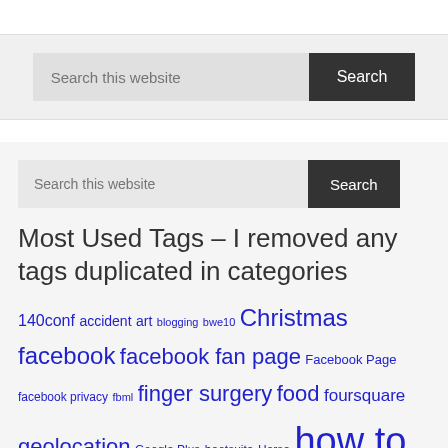[Figure (screenshot): Top white bar area, partial website header]
[Figure (screenshot): Search box with 'Search this website' placeholder and dark 'Search' button, on light grey background]
[Figure (screenshot): Second search box with 'Search this website' placeholder and dark 'Search' button]
Most Used Tags – I removed any tags duplicated in categories
140conf accident art blogging bwe10 Christmas facebook facebook fan page Facebook Page facebook privacy fbml finger surgery food foursquare geolocation Google Plus hootsuite Horse how to instagram iPhone iPhone app Kauai Los Angeles